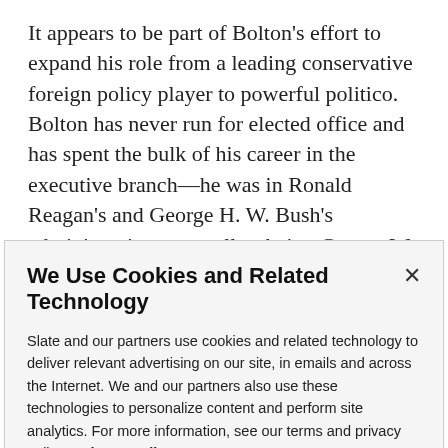It appears to be part of Bolton's effort to expand his role from a leading conservative foreign policy player to powerful politico. Bolton has never run for elected office and has spent the bulk of his career in the executive branch—he was in Ronald Reagan's and George H. W. Bush's administrations, as well as being George W. Bush's undersecretary of state for arms control and
We Use Cookies and Related Technology
Slate and our partners use cookies and related technology to deliver relevant advertising on our site, in emails and across the Internet. We and our partners also use these technologies to personalize content and perform site analytics. For more information, see our terms and privacy policy.  Privacy Policy
OK